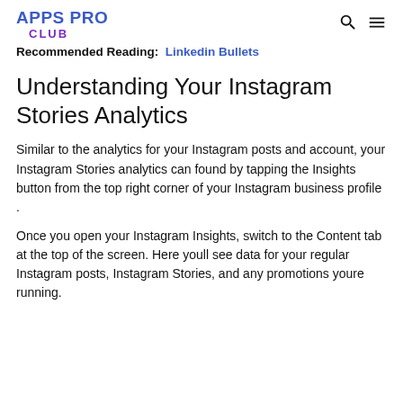APPS PRO CLUB
Recommended Reading:  Linkedin Bullets
Understanding Your Instagram Stories Analytics
Similar to the analytics for your Instagram posts and account, your Instagram Stories analytics can found by tapping the Insights button from the top right corner of your Instagram business profile .
Once you open your Instagram Insights, switch to the Content tab at the top of the screen. Here youll see data for your regular Instagram posts, Instagram Stories, and any promotions youre running.